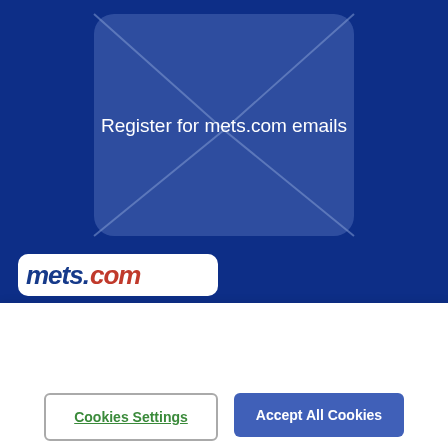[Figure (screenshot): Dark blue background with a rounded rectangle envelope icon graphic in a slightly lighter blue overlay, and the text 'Register for mets.com emails' centered over it in white.]
[Figure (logo): mets.com logo in white rounded rectangle box, with 'mets' in blue italic bold and '.com' in red italic bold on dark blue navigation bar]
By clicking “Accept All Cookies”, you agree to the storing of cookies on your device to enhance site navigation, analyze site usage, and assist in our marketing efforts.
Cookies Settings
Accept All Cookies